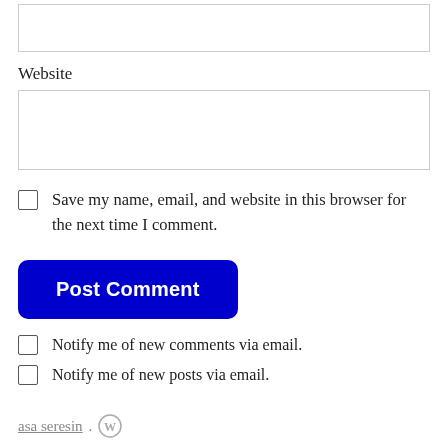Website
Save my name, email, and website in this browser for the next time I comment.
Post Comment
Notify me of new comments via email.
Notify me of new posts via email.
asa seresin. [WordPress icon]